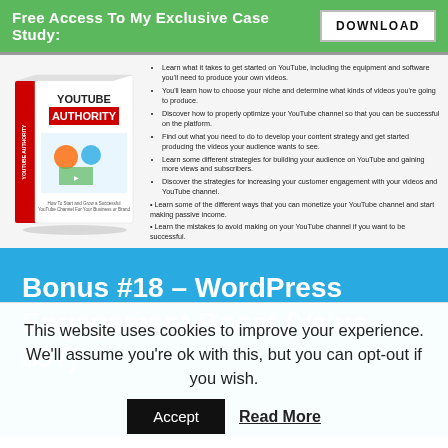Free Access To My Exclusive Case Study: DOWNLOAD
[Figure (illustration): YouTube Authority book cover - 3D box mockup showing 'YouTube Authority: How To Start and Grow a Successful YouTube Channel For Your Business or Brand']
Learn what it takes to get started on YouTube, including the equipment and software you'll need to produce your own videos.
You'll learn how to choose your niche and determine what kinds of videos you're going to produce.
Discover how to properly optimize your YouTube channel so that you can be successful on the platform.
Find out what you need to do to develop your content strategy and get started producing the videos your audience wants to see.
Learn some different strategies for building your audience on YouTube and gaining more views and subscribers.
Discover the strategies for increasing your customer engagement with your videos and YouTube channel.
Learn some of the different ways that you can monetize your YouTube channel and start making passive income.
Learn the mistakes to avoid making on your YouTube channel if you want to be successful.
Bonus #18 – WordPress Engagement Boost (Value $97)
This website uses cookies to improve your experience. We'll assume you're ok with this, but you can opt-out if you wish. Accept Read More